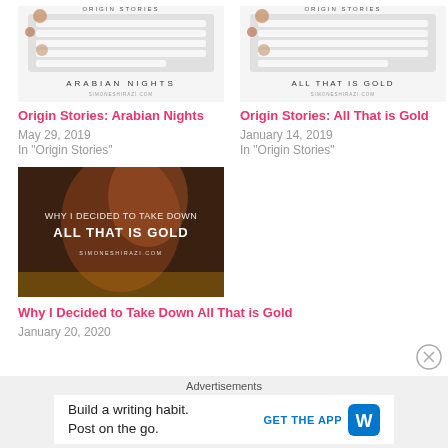[Figure (photo): Blog post thumbnail for Origin Stories: Arabian Nights — white keyboard with rose gold binder clips, text overlay ORIGIN STORIES ARABIAN NIGHTS simoneshirazi.com]
Origin Stories: Arabian Nights
May 29, 2019
In "Origin Stories"
[Figure (photo): Blog post thumbnail for Origin Stories: All That is Gold — white keyboard with rose gold binder clips, text overlay ORIGIN STORIES ALL THAT IS GOLD simoneshirazi.com]
Origin Stories: All That is Gold
January 14, 2019
In "Origin Stories"
[Figure (photo): Blog post thumbnail — dark portrait with text WHY I DECIDED TO TAKE DOWN ALL THAT IS GOLD simoneshirazi.com]
Why I Decided to Take Down All That is Gold
January 20, 2020
Advertisements
Build a writing habit. Post on the go.
GET THE APP